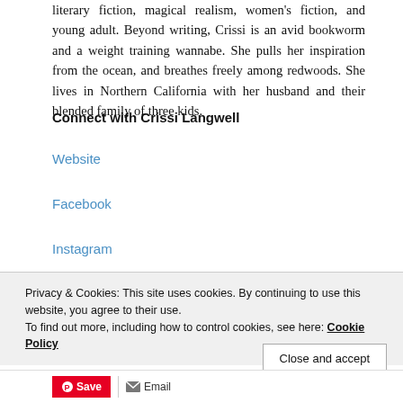literary fiction, magical realism, women's fiction, and young adult. Beyond writing, Crissi is an avid bookworm and a weight training wannabe. She pulls her inspiration from the ocean, and breathes freely among redwoods. She lives in Northern California with her husband and their blended family of three kids.
Connect with Crissi Langwell
Website
Facebook
Instagram
Privacy & Cookies: This site uses cookies. By continuing to use this website, you agree to their use. To find out more, including how to control cookies, see here: Cookie Policy
Close and accept
Save   Email